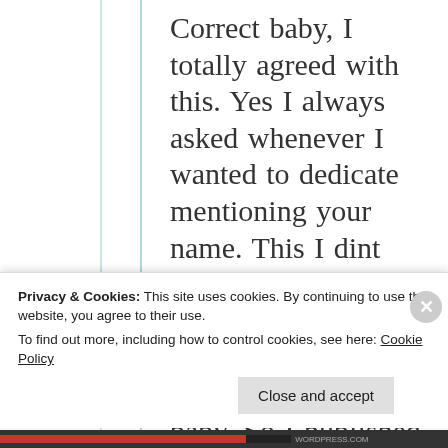Correct baby, I totally agreed with this. Yes I always asked whenever I wanted to dedicate mentioning your name. This I dint mention name n I thought generally. This entire post is totally my wordings baby. So I published n didn't adk you but never in a way of
Privacy & Cookies: This site uses cookies. By continuing to use this website, you agree to their use. To find out more, including how to control cookies, see here: Cookie Policy